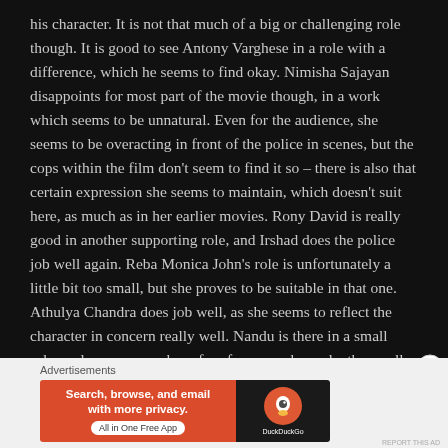his character. It is not that much of a big or challenging role though. It is good to see Antony Varghese in a role with a difference, which he seems to find okay. Nimisha Sajayan disappoints for most part of the movie though, in a work which seems to be unnatural. Even for the audience, she seems to be overacting in front of the police in scenes, but the cops within the film don't seem to find it so – there is also that certain expression she seems to maintain, which doesn't suit here, as much as in her earlier movies. Rony David is really good in another supporting role, and Irshad does the police job well again. Reba Monica John's role is unfortunately a little bit too small, but she proves to be suitable in that one. Athulya Chandra does job well, as she seems to reflect the character in concern really well. Nandu is there in a small role, and so are a number of performers who make the smaller contributions.
Advertisements
[Figure (other): DuckDuckGo advertisement banner: orange left panel with text 'Search, browse, and email with more privacy. All in One Free App' and dark right panel with DuckDuckGo logo.]